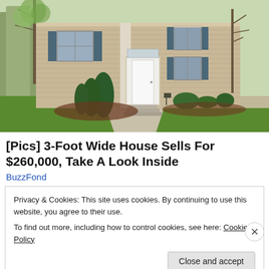[Figure (photo): Exterior photo of a two-story colonial-style house with tan/beige horizontal siding, white front door with decorative transom window, blue shutters on upper windows, evergreen shrubs flanking the entrance steps, green lawn, sidewalk, and bare trees on the sides.]
[Pics] 3-Foot Wide House Sells For $260,000, Take A Look Inside
BuzzFond
Privacy & Cookies: This site uses cookies. By continuing to use this website, you agree to their use.
To find out more, including how to control cookies, see here: Cookie Policy
Close and accept